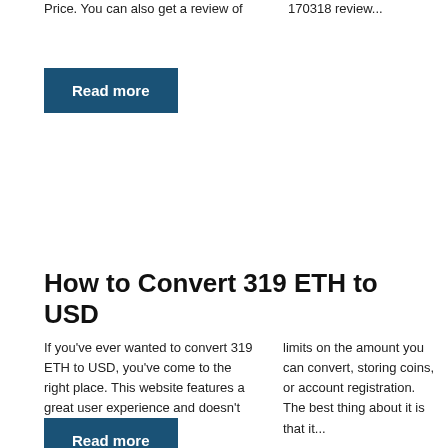Price. You can also get a review of
170318 review...
Read more
How to Convert 319 ETH to USD
If you've ever wanted to convert 319 ETH to USD, you've come to the right place. This website features a great user experience and doesn't have
limits on the amount you can convert, storing coins, or account registration. The best thing about it is that it...
Read more